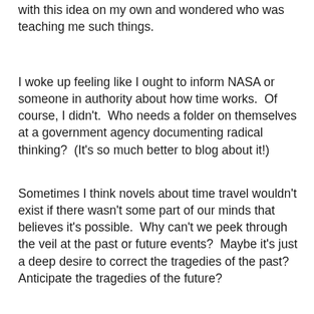with this idea on my own and wondered who was teaching me such things.
I woke up feeling like I ought to inform NASA or someone in authority about how time works.  Of course, I didn't.  Who needs a folder on themselves at a government agency documenting radical thinking?  (It's so much better to blog about it!)
Sometimes I think novels about time travel wouldn't exist if there wasn't some part of our minds that believes it's possible.  Why can't we peek through the veil at the past or future events?  Maybe it's just a deep desire to correct the tragedies of the past?  Anticipate the tragedies of the future?
Mostly, I try to avoid politics on this blog.  I have opinions.  I'm pretty sure regular visitors can guess my opinions.  I just want this to be a pleasant place instead of foot stomping rants about the general public's stupidity and ignorance.  Sometimes I wonder if I'd spoken up more before the last election whether or not I could've had an influence?  Probably not -- yet, what if all the sane people had spoken